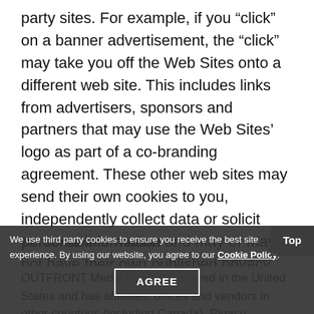party sites. For example, if you “click” on a banner advertisement, the “click” may take you off the Web Sites onto a different web site. This includes links from advertisers, sponsors and partners that may use the Web Sites’ logo as part of a co-branding agreement. These other web sites may send their own cookies to you, independently collect data or solicit personal information and may or may not have their own published privacy policies. If you visit a web site that is linked from our Web Sites, you should consult that web site’s privacy policy before providing any personal information.
10.  Consent to Transfer
OUTFRONT Media is headquartered in the United States and has affiliates, offices and vendors in other countries (including Canada). Please
We use third party cookies to ensure you receive the best site experience. By using our website, you agree to our Cookie Policy.
AGREE
Top